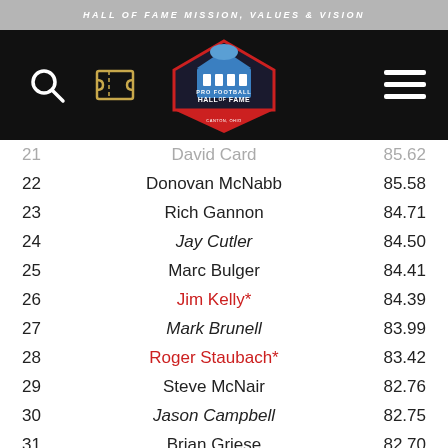HALL OF FAME MISSION, VALUES & VISION
[Figure (screenshot): Pro Football Hall of Fame navigation bar with search icon, tickets icon, Hall of Fame logo, and hamburger menu]
| Rank | Name | Score |
| --- | --- | --- |
| 21 | David Card | 85.62 |
| 22 | Donovan McNabb | 85.58 |
| 23 | Rich Gannon | 84.71 |
| 24 | Jay Cutler | 84.50 |
| 25 | Marc Bulger | 84.41 |
| 26 | Jim Kelly* | 84.39 |
| 27 | Mark Brunell | 83.99 |
| 28 | Roger Staubach* | 83.42 |
| 29 | Steve McNair | 82.76 |
| 30 | Jason Campbell | 82.75 |
| 31 | Brian Griese | 82.70 |
| 32 | Neil Lomax | 82.68 |
| 33 | Sonny Jurgensen* | 82.62 |
| 34 | Len Dawson* | 82.56 |